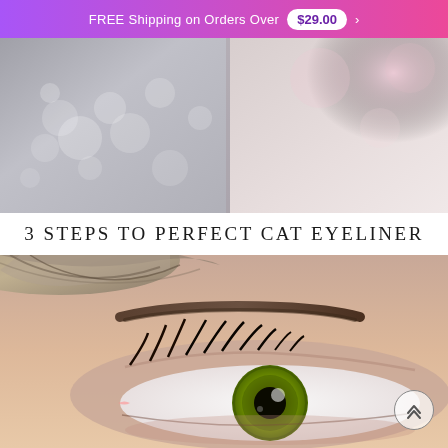FREE Shipping on Orders Over $29.00
[Figure (photo): Close-up photo of glittery/sparkly eyeliner product texture on a light background, split into two sections]
3 STEPS TO PERFECT CAT EYELINER
[Figure (photo): Close-up photo of a woman's eye with green iris, long dark lashes with mascara, and a well-defined brown eyebrow, with a scroll-to-top button in the lower right]